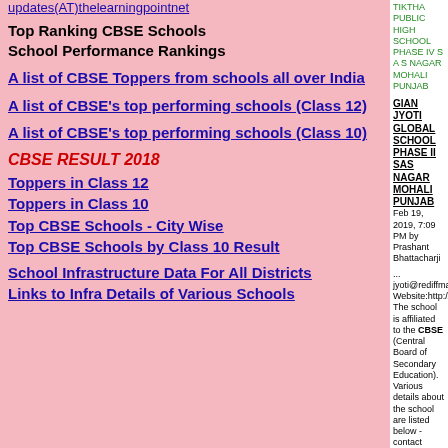updates(AT)thelearningpointnet
Top Ranking CBSE Schools
School Performance Rankings
A list of CBSE Toppers from schools all over India
A list of CBSE's top performing schools (Class 12)
A list of CBSE's top performing schools (Class 10)
CBSE RESULT 2018
Toppers in Class 12
Toppers in Class 10
Top CBSE Schools - City Wise
Top CBSE Schools by Class 10 Result
School Infrastructure Data For All Districts
Links to Infra Details of Various Schools
TIKTHA PUBLIC HIGH SCHOOL PHASE IV S A S NAGAR MOHALI PUNJAB
GIAN JYOTI GLOBAL SCHOOL PHASE II SAS NAGAR MOHALI PUNJAB Feb 19, 2019, 7:09 PM by Prashant Bhattacharji
... jyoti@rediffmail.com, Website:http://www.gjps The school is affiliated to the CBSE (Central Board of Secondary Education). Various details about the school are listed below - contact information ... s a list of other CBSE